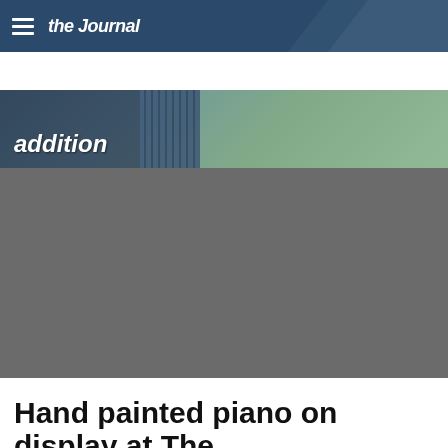theJournal
More
[Figure (photo): Partial view of a building exterior with trees, text overlay reading 'addition']
[Figure (photo): Large gray/placeholder image block]
Hand painted piano on display at The